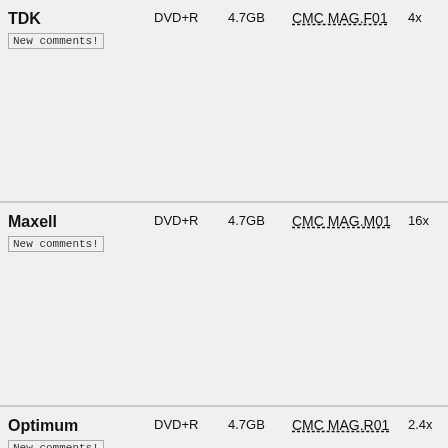| Brand | Type | Capacity | MID Code | Speed | Info |
| --- | --- | --- | --- | --- | --- |
| TDK
New comments! | DVD+R | 4.7GB | CMC MAG.F01 | 4x | Plays
Plays
Burn R
DVD R
PC Re
Consc |
| Maxell
New comments! | DVD+R | 4.7GB | CMC MAG.M01 | 16x | Plays
Plays
Burn R
DVD R
PC Re
Consc |
| Optimum
New comments! | DVD+R | 4.7GB | CMC MAG.R01 | 2.4x | Plays
Plays
Burn R
DVD R
PC Re
Consc |
| Verbatim (DataLife)
New comments! | DVD+R | 4.7GB | CMC MAG.R01 | 2.4x | Plays
Plays
Burn
DVD R |